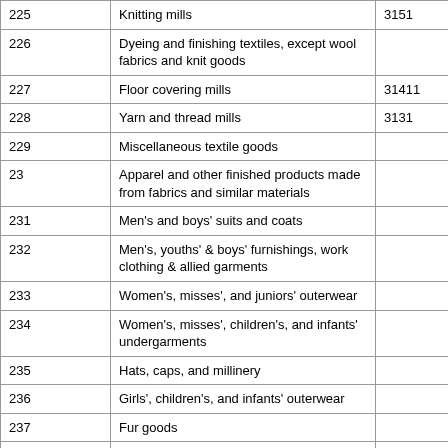|  |  |  |
| --- | --- | --- |
| 225 | Knitting mills | 3151 |
| 226 | Dyeing and finishing textiles, except wool fabrics and knit goods |  |
| 227 | Floor covering mills | 31411 |
| 228 | Yarn and thread mills | 3131 |
| 229 | Miscellaneous textile goods |  |
| 23 | Apparel and other finished products made from fabrics and similar materials |  |
| 231 | Men's and boys' suits and coats |  |
| 232 | Men's, youths' & boys' furnishings, work clothing & allied garments |  |
| 233 | Women's, misses', and juniors' outerwear |  |
| 234 | Women's, misses', children's, and infants' undergarments |  |
| 235 | Hats, caps, and millinery |  |
| 236 | Girls', children's, and infants' outerwear |  |
| 237 | Fur goods |  |
| 238 | Miscellaneous apparel and accessories |  |
| 239 | Miscellaneous fabricated textile products |  |
| 24 | Lumber and wood products, except furniture |  |
| 241 | Logging camps and logging contractors | 1133 |